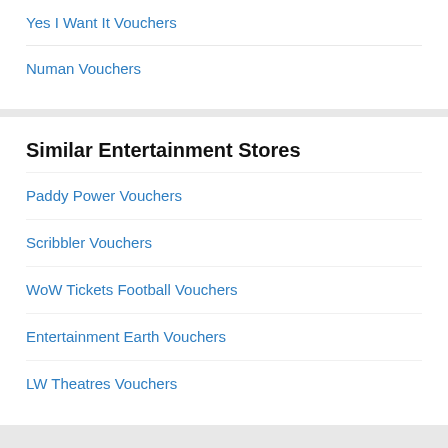Yes I Want It Vouchers
Numan Vouchers
Similar Entertainment Stores
Paddy Power Vouchers
Scribbler Vouchers
WoW Tickets Football Vouchers
Entertainment Earth Vouchers
LW Theatres Vouchers